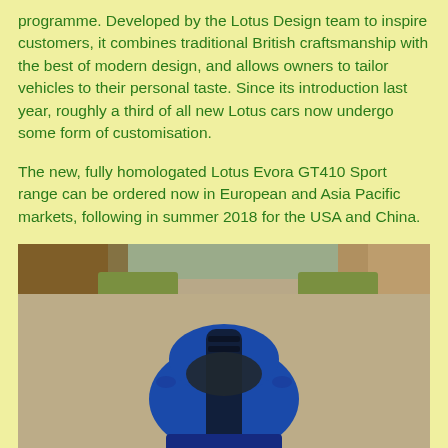programme. Developed by the Lotus Design team to inspire customers, it combines traditional British craftsmanship with the best of modern design, and allows owners to tailor vehicles to their personal taste. Since its introduction last year, roughly a third of all new Lotus cars now undergo some form of customisation.
The new, fully homologated Lotus Evora GT410 Sport range can be ordered now in European and Asia Pacific markets, following in summer 2018 for the USA and China.
[Figure (photo): Aerial front view of a blue Lotus Evora GT410 Sport sports car on a gravel driveway, with hedges and grass visible in the background.]